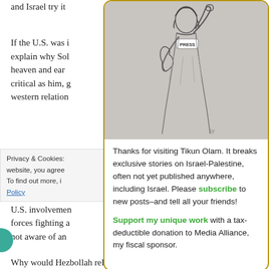and Israel try it
If the U.S. was i... explain why Sol... heaven and ear... critical as him, g... western relation...
UPDATE: The W... U.S. involvemen... forces fighting a... not aware of an...
[Figure (illustration): Illustration of a woman in a press vest raising her fist, styled like the Statue of Liberty, holding a map shape in her other hand. Gray background.]
Thanks for visiting Tikun Olam. It breaks exclusive stories on Israel-Palestine, often not yet published anywhere, including Israel. Please subscribe to new posts–and tell all your friends!
Support my unique work with a tax-deductible donation to Media Alliance, my fiscal sponsor.
Privacy & Cookies: ... website, you agree... To find out more, i... Policy
Why would Hezbollah release deliberately false